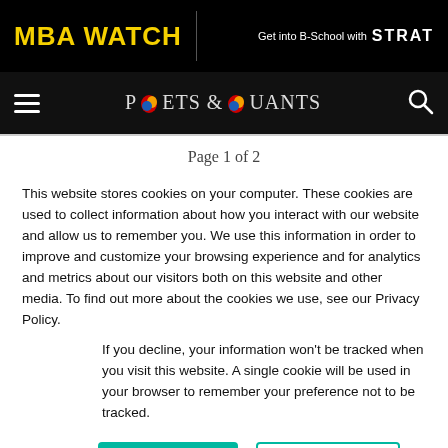MBA WATCH | Get into B-School with STRAT
[Figure (logo): Poets & Quants logo with navigation bar and hamburger menu]
Page 1 of 2
This website stores cookies on your computer. These cookies are used to collect information about how you interact with our website and allow us to remember you. We use this information in order to improve and customize your browsing experience and for analytics and metrics about our visitors both on this website and other media. To find out more about the cookies we use, see our Privacy Policy.
If you decline, your information won't be tracked when you visit this website. A single cookie will be used in your browser to remember your preference not to be tracked.